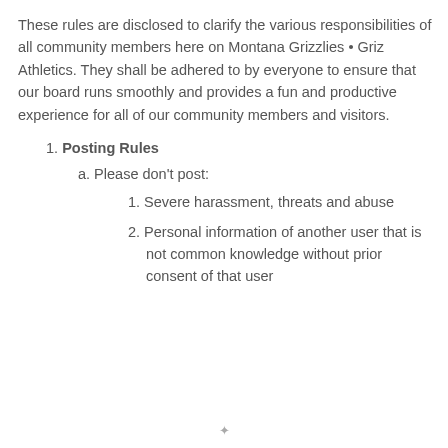These rules are disclosed to clarify the various responsibilities of all community members here on Montana Grizzlies • Griz Athletics. They shall be adhered to by everyone to ensure that our board runs smoothly and provides a fun and productive experience for all of our community members and visitors.
1. Posting Rules
a. Please don't post:
1. Severe harassment, threats and abuse
2. Personal information of another user that is not common knowledge without prior consent of that user